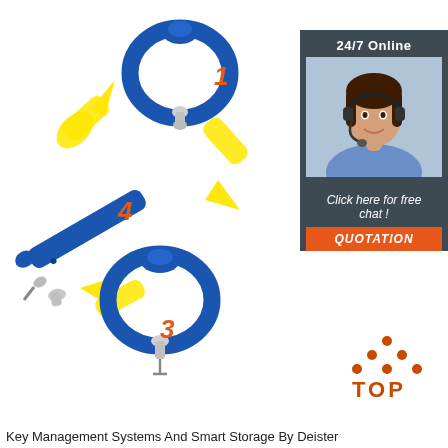[Figure (infographic): Circular diagram showing 4 steps of a blue silicone wristband/bracelet assembly with yellow arrows connecting steps 1–4, numbered in orange italic. Step 1 top: closed blue wristband ring. Step 2 right (arrow). Step 3 bottom: open blue wristband with pin inserted. Step 4 left: flat blue strap with components. Yellow arrows form a circle around the steps.]
[Figure (photo): Customer service agent sidebar: dark grey box with '24/7 Online' text, photo of smiling woman with headset, 'Click here for free chat!' italic text, and orange 'QUOTATION' button.]
[Figure (logo): TOP logo: orange triangular arrangement of dots above the word TOP in orange.]
Key Management Systems And Smart Storage By Deister